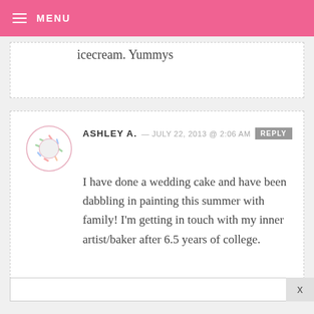MENU
icecream. Yummys
ASHLEY A. — JULY 22, 2013 @ 2:06 AM  REPLY
I have done a wedding cake and have been dabbling in painting this summer with family! I'm getting in touch with my inner artist/baker after 6.5 years of college.